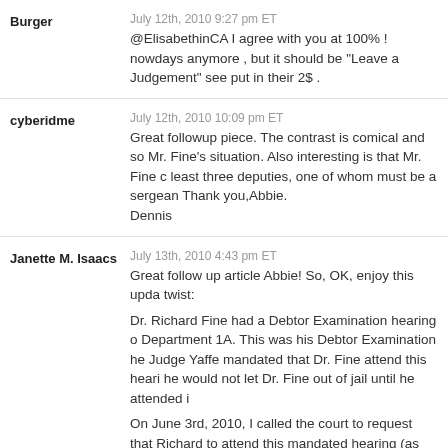Burger
July 12th, 2010 9:27 pm ET
@ElisabethinCA I agree with you at 100% ! nowdays anymore , but it should be "Leave a Judgement" see put in their 2$ .
cyberidme
July 12th, 2010 10:09 pm ET
Great followup piece. The contrast is comical and so Mr. Fine's situation. Also interesting is that Mr. Fine c least three deputies, one of whom must be a sergean Thank you,Abbie. Dennis
Janette M. Isaacs
July 13th, 2010 4:43 pm ET
Great follow up article Abbie! So, OK, enjoy this upda twist:
Dr. Richard Fine had a Debtor Examination hearing o Department 1A. This was his Debtor Examination he Judge Yaffe mandated that Dr. Fine attend this heari he would not let Dr. Fine out of jail until he attended i
On June 3rd, 2010, I called the court to request that Richard to attend this mandated hearing (as ordered advised by the clerk that they do not transfer inmates matters. I was shocked.